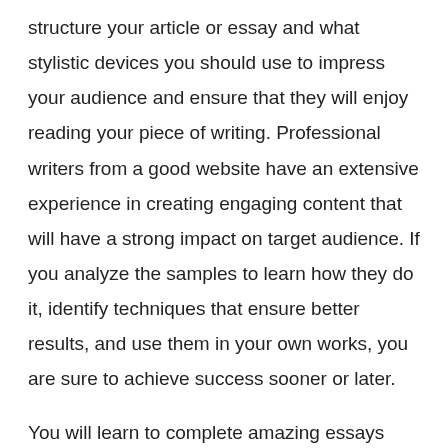structure your article or essay and what stylistic devices you should use to impress your audience and ensure that they will enjoy reading your piece of writing. Professional writers from a good website have an extensive experience in creating engaging content that will have a strong impact on target audience. If you analyze the samples to learn how they do it, identify techniques that ensure better results, and use them in your own works, you are sure to achieve success sooner or later.
You will learn to complete amazing essays and articles that they help you become a successful student who enjoys studies and gets high grades not only in a creative writing class but in other classes as well. You